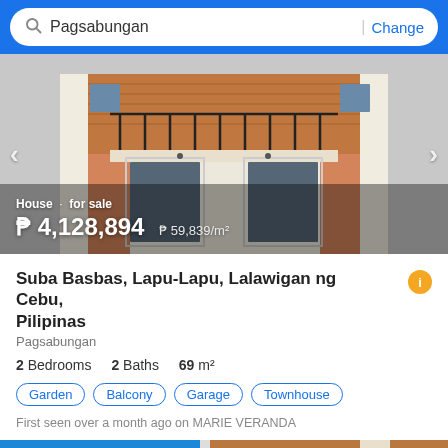Pagsabungan | Change
[Figure (photo): Exterior photo of a two-storey townhouse with brown wooden cladding, white columns, balcony with black iron railing, and garage area]
House · for sale
₱ 4,128,894  ₱ 59,839/m²
Suba Basbas, Lapu-Lapu, Lalawigan ng Cebu, Pilipinas
Pagsabungan
2 Bedrooms  2 Baths  69 m²
Garden
Balcony
Garage
Townhouse
First seen over a month ago on MARIE VERANDA
[Figure (photo): Partial view of another property listing below, with blue sky background and modern facade]
🎥 1/6
Filter